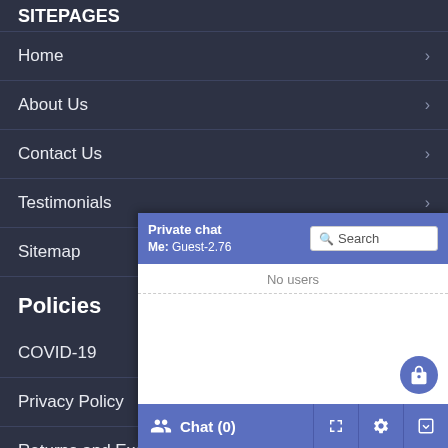SITEPAGES
Home
About Us
Contact Us
Testimonials
Sitemap
Policies
COVID-19
Privacy Policy
Returns and Exchanges
Pantone Colours
Uniform Management Syste
[Figure (screenshot): Private chat overlay widget showing 'Private chat / Me: Guest-2.76' header with Search box, 'No users' message, lock button, and Chat(0) footer bar with expand, settings, and minimize buttons]